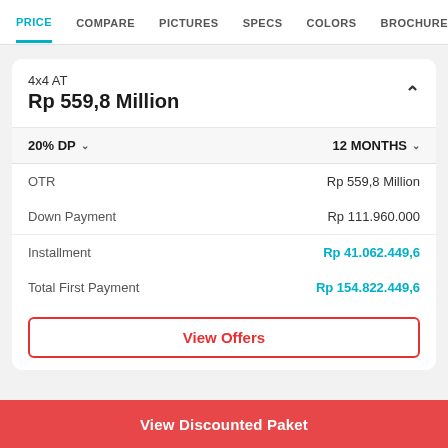PRICE  COMPARE  PICTURES  SPECS  COLORS  BROCHURE  CAR D
4x4 AT
Rp 559,8 Million
20% DP   12 MONTHS
|  |  |
| --- | --- |
| OTR | Rp 559,8 Million |
| Down Payment | Rp 111.960.000 |
| Installment | Rp 41.062.449,6 |
| Total First Payment | Rp 154.822.449,6 |
View Offers
View Discounted Paket